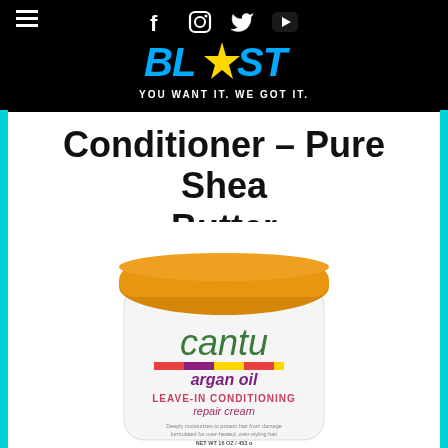BLAST — YOU WANT IT. WE GOT IT. (with social icons: Facebook, Instagram, Twitter, YouTube)
Conditioner – Pure Shea Butter
[Figure (photo): Cantu Argan Oil Leave-In Conditioning Repair Cream jar with orange lid. White jar with green 'cantu' branding, colorful stripe, purple 'argan oil' text, pink 'LEAVE-IN CONDITIONING repair cream' text. NET WT 16 OZ / 453 g.]